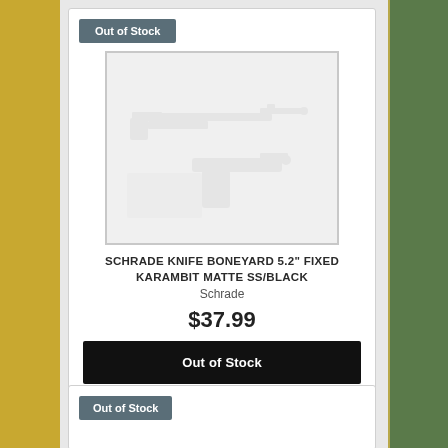Out of Stock
[Figure (photo): Placeholder product image showing faded silhouettes of firearms (rifle, pistol) on a light grey background]
SCHRADE KNIFE BONEYARD 5.2" FIXED KARAMBIT MATTE SS/BLACK
Schrade
$37.99
Out of Stock
Out of Stock